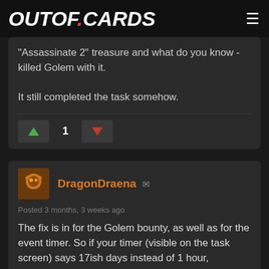OUTOF.CARDS
"Assassinate 2" treasure and what do you know - killed Golem with it.

It still completed the task somehow.
1
DragonDraena
Posted 3 months, 3 weeks ago
The fix is in for the Golem bounty, as well as for the event timer. So if your timer (visible on the task screen) says 17ish days instead of 1 hour,